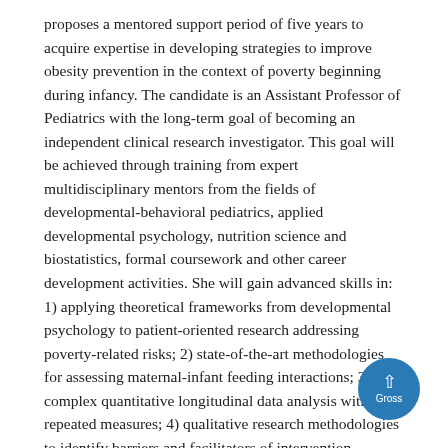proposes a mentored support period of five years to acquire expertise in developing strategies to improve obesity prevention in the context of poverty beginning during infancy. The candidate is an Assistant Professor of Pediatrics with the long-term goal of becoming an independent clinical research investigator. This goal will be achieved through training from expert multidisciplinary mentors from the fields of developmental-behavioral pediatrics, applied developmental psychology, nutrition science and biostatistics, formal coursework and other career development activities. She will gain advanced skills in: 1) applying theoretical frameworks from developmental psychology to patient-oriented research addressing poverty-related risks; 2) state-of-the-art methodologies for assessing maternal-infant feeding interactions; 3) complex quantitative longitudinal data analysis with repeated measures; 4) qualitative research methodologies to identify barriers and facilitators of intervention engagement with low-income families; 5) intervention development and evaluation; and 6) grant writing. The practical application of these goals will be accomplished through three study aims. In Aim 1, Dr. Gross will conduct a secondary analysis of longitudinal data from a large ongoing study of an early obesity prevention intervention to systematically describe the relationships between poverty,